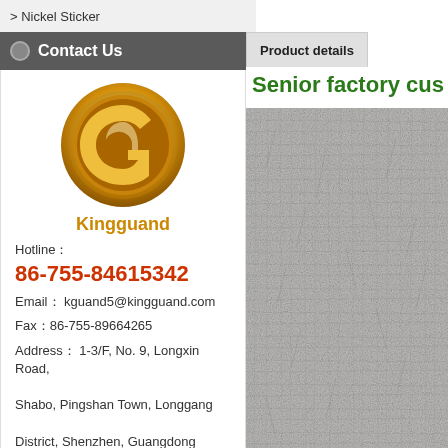> Nickel Sticker
Contact Us
[Figure (logo): Kingguand company logo — gold circular emblem with stylized G letter, company name Kingguand in orange below]
Hotline：
86-755-84615342
Email： kguand5@kingguand.com
Fax：86-755-89664265
Address： 1-3/F, No. 9, Longxin Road, Shabo, Pingshan Town, Longgang District, Shenzhen, Guangdong
Product details
Senior factory cus
[Figure (photo): Close-up photo of grey fabric/textile material with woven texture]